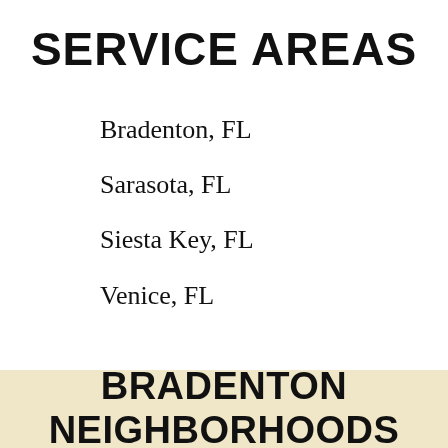SERVICE AREAS
Bradenton, FL
Sarasota, FL
Siesta Key, FL
Venice, FL
BRADENTON NEIGHBORHOODS